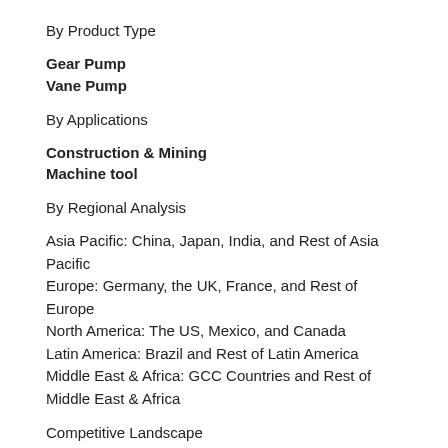By Product Type
Gear Pump
Vane Pump
By Applications
Construction & Mining
Machine tool
By Regional Analysis
Asia Pacific: China, Japan, India, and Rest of Asia Pacific
Europe: Germany, the UK, France, and Rest of Europe
North America: The US, Mexico, and Canada
Latin America: Brazil and Rest of Latin America
Middle East & Africa: GCC Countries and Rest of Middle East & Africa
Competitive Landscape
The major players of the Hydraulic Pumps market are:
Bosch Rexroth AG
Cont